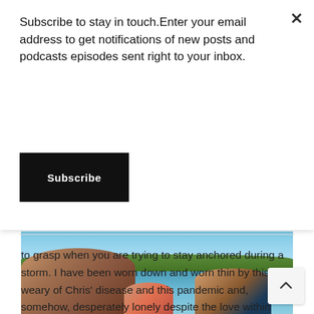Subscribe to stay in touch.Enter your email address to get notifications of new posts and podcasts episodes sent right to your inbox.
Subscribe
to grasp when you are trying to stay anchored during a storm.  I have been worn down and worn thin by this life, weary of Chris' disease and this pandemic and, somehow, desperately lonely despite the love within my…
[Figure (photo): Outdoor photo of a family on water — woman in foreground, child in middle, man with sunglasses on right, with trees and blue sky in background]